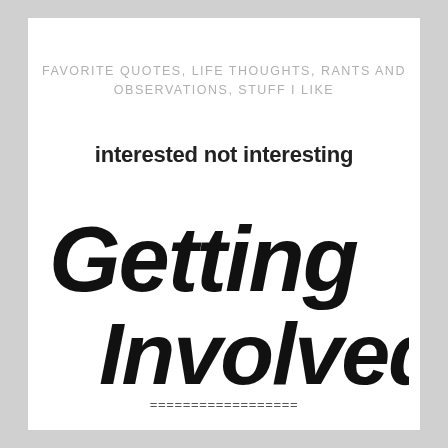FAVORITE QUOTES, LIFE THOUGHTS, RANTS AND OBSERVATIONS, STUFF I LIKE
interested not interesting
[Figure (illustration): Large handwritten-style black text reading 'Getting Involved' in a casual brush/marker font, two lines, left-aligned]
==================